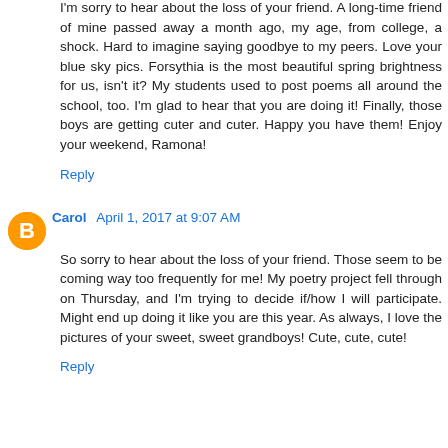I'm sorry to hear about the loss of your friend. A long-time friend of mine passed away a month ago, my age, from college, a shock. Hard to imagine saying goodbye to my peers. Love your blue sky pics. Forsythia is the most beautiful spring brightness for us, isn't it? My students used to post poems all around the school, too. I'm glad to hear that you are doing it! Finally, those boys are getting cuter and cuter. Happy you have them! Enjoy your weekend, Ramona!
Reply
Carol April 1, 2017 at 9:07 AM
So sorry to hear about the loss of your friend. Those seem to be coming way too frequently for me! My poetry project fell through on Thursday, and I'm trying to decide if/how I will participate. Might end up doing it like you are this year. As always, I love the pictures of your sweet, sweet grandboys! Cute, cute, cute!
Reply